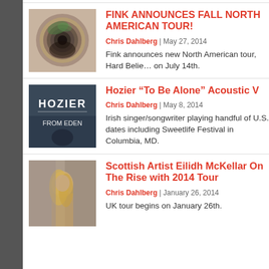[Figure (photo): Fink album art - psychedelic spinning circle with green and dark colors]
FINK ANNOUNCES FALL NORTH AMERICAN TOUR!
Chris Dahlberg | May 27, 2014
Fink announces new North American tour, Hard Believer out on July 14th.
[Figure (photo): Hozier From Eden album cover with text overlay]
Hozier “To Be Alone” Acoustic V
Chris Dahlberg | May 8, 2014
Irish singer/songwriter playing handful of U.S. dates including Sweetlife Festival in Columbia, MD.
[Figure (photo): Scottish artist Eilidh McKellar portrait photo]
Scottish Artist Eilidh McKellar On The Rise with 2014 Tour
Chris Dahlberg | January 26, 2014
UK tour begins on January 26th.